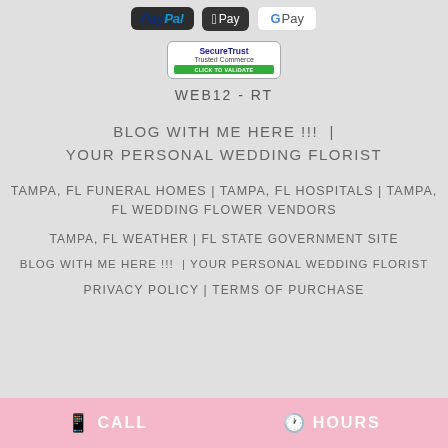[Figure (logo): Payment icons: PayPal, Apple Pay, Google Pay buttons at top]
[Figure (logo): SecureTrust Trusted Commerce seal with 'CLICK TO VALIDATE' green bar]
WEB12-RT
BLOG WITH ME HERE !!!  |  YOUR PERSONAL WEDDING FLORIST
TAMPA, FL FUNERAL HOMES | TAMPA, FL HOSPITALS | TAMPA, FL WEDDING FLOWER VENDORS
TAMPA, FL WEATHER | FL STATE GOVERNMENT SITE
BLOG WITH ME HERE !!!  | YOUR PERSONAL WEDDING FLORIST
PRIVACY POLICY | TERMS OF PURCHASE
CALL   HOURS